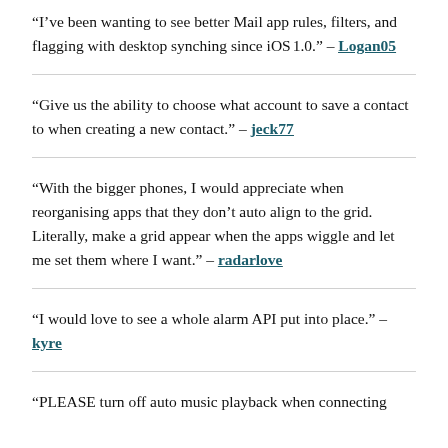“I’ve been wanting to see better Mail app rules, filters, and flagging with desktop synching since iOS 1.0.” – Logan05
“Give us the ability to choose what account to save a contact to when creating a new contact.” – jeck77
“With the bigger phones, I would appreciate when reorganising apps that they don’t auto align to the grid. Literally, make a grid appear when the apps wiggle and let me set them where I want.” – radarlove
“I would love to see a whole alarm API put into place.” – kyre
“PLEASE turn off auto music playback when connecting